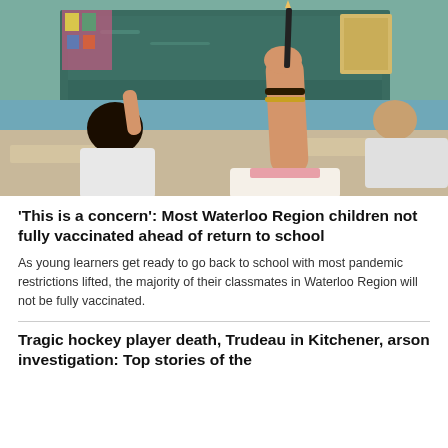[Figure (photo): Children in a classroom with hands raised, one holding a pencil up prominently, with a chalkboard in the background.]
'This is a concern': Most Waterloo Region children not fully vaccinated ahead of return to school
As young learners get ready to go back to school with most pandemic restrictions lifted, the majority of their classmates in Waterloo Region will not be fully vaccinated.
Tragic hockey player death, Trudeau in Kitchener, arson investigation: Top stories of the